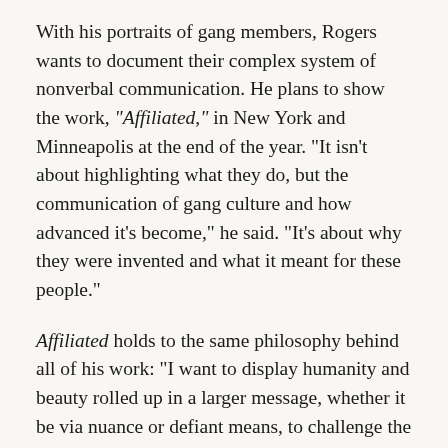With his portraits of gang members, Rogers wants to document their complex system of nonverbal communication. He plans to show the work, “Affiliated,” in New York and Minneapolis at the end of the year. “It isn’t about highlighting what they do, but the communication of gang culture and how advanced it’s become,” he said. “It’s about why they were invented and what it meant for these people.”
Affiliated holds to the same philosophy behind all of his work: “I want to display humanity and beauty rolled up in a larger message, whether it be via nuance or defiant means, to challenge the viewer to deny these qualities in my subjects.”
While his father is still living just outside of Minneapolis, Rogers’s mother died in 2017 on the last